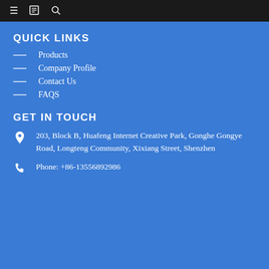☰  📋  🔍
QUICK LINKS
Products
Company Profile
Contact Us
FAQS
GET IN TOUCH
203, Block B, Huafeng Internet Creative Park, Gonghe Gongye Road, Longteng Community, Xixiang Street, Shenzhen
Phone: +86-13556892986